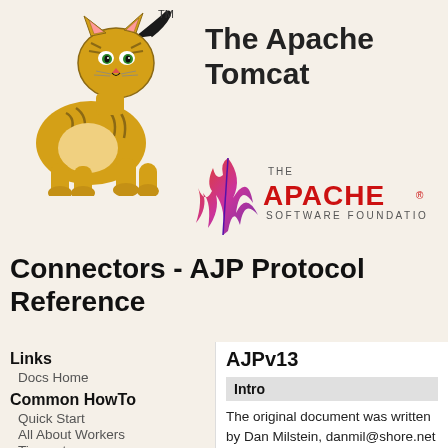[Figure (logo): Apache Tomcat mascot logo - golden cartoon cat crouching with TM mark]
The Apache Tomcat
[Figure (logo): Apache Software Foundation feather logo with THE APACHE SOFTWARE FOUNDATION text]
Connectors - AJP Protocol Reference
Links
Docs Home
Common HowTo
Quick Start
All About Workers
Timeouts
Load Balancing
Reverse Proxy
Web Server HowTo
AJPv13
Intro
The original document was written by Dan Milstein, danmil@shore.net on December 2000. The present document is generated out of an xml file to allow a more easy integration in